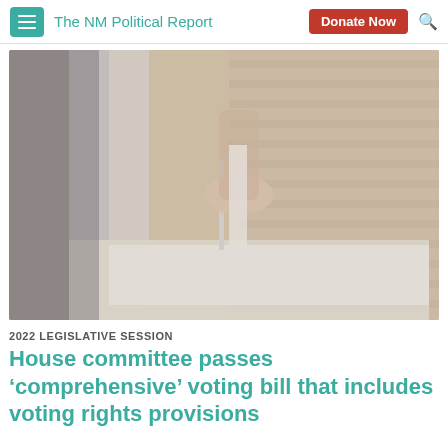The NM Political Report
[Figure (photo): Close-up blurred photo of a hand inserting a ballot into a voting box, with wooden blinds in the background]
2022 LEGISLATIVE SESSION
House committee passes ‘comprehensive’ voting bill that includes voting rights provisions